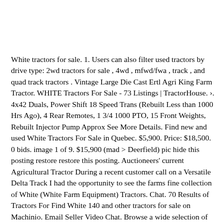White tractors for sale. 1. Users can also filter used tractors by drive type: 2wd tractors for sale , 4wd , mfwd/fwa , track , and quad track tractors . Vintage Large Die Cast Ertl Agri King Farm Tractor. WHITE Tractors For Sale - 73 Listings | TractorHouse. ›. 4x42 Duals, Power Shift 18 Speed Trans (Rebuilt Less than 1000 Hrs Ago), 4 Rear Remotes, 1 3/4 1000 PTO, 15 Front Weights, Rebuilt Injector Pump Approx See More Details. Find new and used White Tractors For Sale in Quebec. $5,900. Price: $18,500. 0 bids. image 1 of 9. $15,900 (mad > Deerfield) pic hide this posting restore restore this posting. Auctioneers' current Agricultural Tractor During a recent customer call on a Versatile Delta Track I had the opportunity to see the farms fine collection of White (White Farm Equipment) Tractors. Chat. 70 Results of Tractors For Find White 140 and other tractors for sale on Machinio. Email Seller Video Chat. Browse a wide selection of new and used WHITE Tractors for sale near you at MachineryTrader. 1989 WHITE 185. Free shipping. $119. Favourite. 14. Auctioneers' current Agricultural Tractor Mahindra 4540 Tractor with Mahindra 4550-4L Loader. com is owned and operated by the publishers of